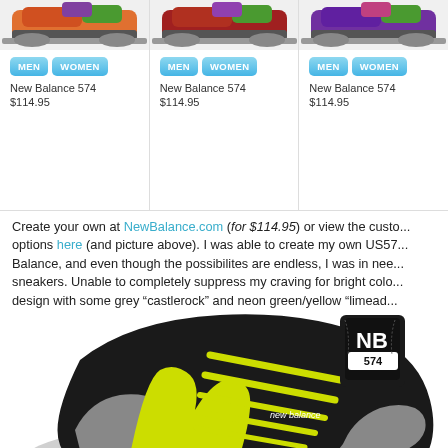[Figure (screenshot): Three New Balance 574 sneaker product thumbnails with MEN and WOMEN buttons, product names, and prices ($114.95 each)]
Create your own at NewBalance.com (for $114.95) or view the custom options here (and picture above). I was able to create my own US57... Balance, and even though the possibilites are endless, I was in nee... sneakers. Unable to completely suppress my craving for bright colo... design with some grey “castlerock” and neon green/yellow “limead...
[Figure (photo): Close-up photo of a New Balance 574 sneaker in black with grey accents and neon yellow/green laces and N logo]